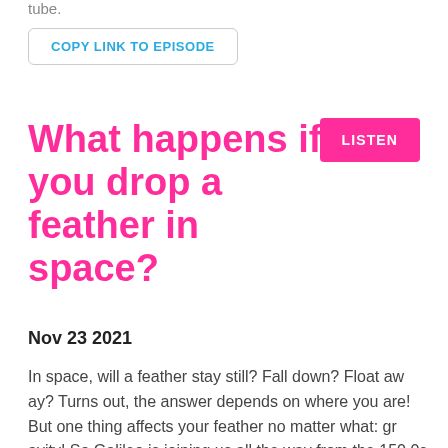tube.
COPY LINK TO EPISODE
What happens if you drop a feather in space?
LISTEN
Nov 23 2021
In space, will a feather stay still? Fall down? Float away? Turns out, the answer depends on where you are! But one thing affects your feather no matter what: gravity! So Galileo is joining us all the way from the 1500s to fill us in on his theory about gravity. Then, we're heading to space, and dropping a feather in a few diff